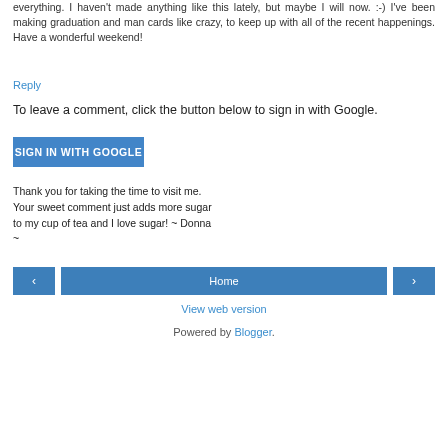everything. I haven't made anything like this lately, but maybe I will now. :-) I've been making graduation and man cards like crazy, to keep up with all of the recent happenings. Have a wonderful weekend!
Reply
To leave a comment, click the button below to sign in with Google.
SIGN IN WITH GOOGLE
Thank you for taking the time to visit me. Your sweet comment just adds more sugar to my cup of tea and I love sugar! ~ Donna ~
< Home > View web version Powered by Blogger.